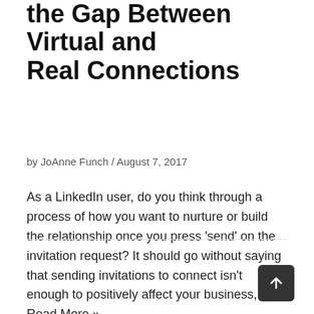LinkedIn Connections: Bridging the Gap Between Virtual and Real Connections
by JoAnne Funch / August 7, 2017
As a LinkedIn user, do you think through a process of how you want to nurture or build the relationship once you press 'send' on the invitation request? It should go without saying that sending invitations to connect isn't enough to positively affect your business,... Read More »